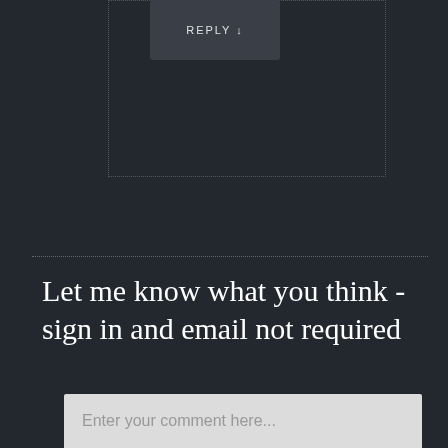REPLY ↓
Let me know what you think -sign in and email not required
Enter your comment here...